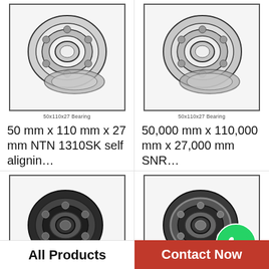[Figure (photo): Bearing image top-left with label '50x110x27 Bearing']
50 mm x 110 mm x 27 mm NTN 1310SK self alignin…
[Figure (photo): Bearing image top-right with label '50x110x27 Bearing']
50,000 mm x 110,000 mm x 27,000 mm SNR…
[Figure (photo): Bearing image bottom-left with label '50x110x27 Bearing']
50 mm x 110 mm x 27 mm NTN 7310C angular…
[Figure (photo): Bearing image bottom-right with WhatsApp Online overlay and label '50x110x27 Bearing']
50 mm x 110 mm x 27 mm CYSD 6310-Z deep groo…
All Products
Contact Now